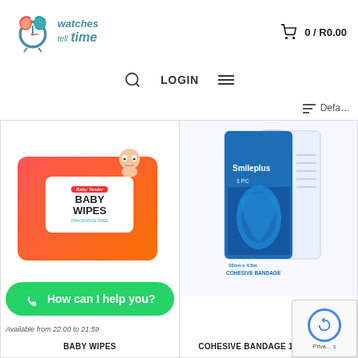[Figure (logo): Watches Tell Time logo with clock graphic and teal italic text]
0 / R0.00
LOGIN
[Figure (other): Hamburger menu icon (three horizontal lines)]
Default
[Figure (photo): Baby Wipes product in orange packaging with baby graphic on label]
How can I help you?
Available from 22:00 to 21:59
BABY WIPES
[Figure (photo): Smileplus Cohesive Bandage 10cm x 4.5M product in blue box showing wrapped knee]
COHESIVE BANDAGE 10cm x 4.5M
[Figure (other): reCAPTCHA privacy badge with circular arrow icon]